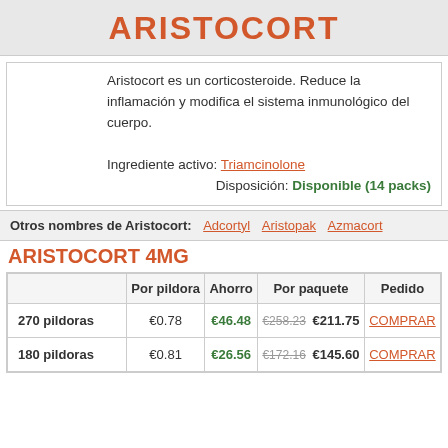ARISTOCORT
Aristocort es un corticosteroide. Reduce la inflamación y modifica el sistema inmunológico del cuerpo.

Ingrediente activo: Triamcinolone
Disposición: Disponible (14 packs)
Otros nombres de Aristocort: Adcortyl  Aristopak  Azmacort
ARISTOCORT 4MG
|  | Por pildora | Ahorro | Por paquete | Pedido |
| --- | --- | --- | --- | --- |
| 270 pildoras | €0.78 | €46.48 | €258.23 €211.75 | COMPRAR |
| 180 pildoras | €0.81 | €26.56 | €172.16 €145.60 | COMPRAR |